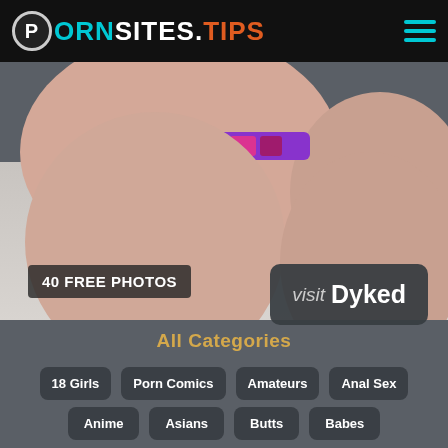PORNSITES.TIPS
[Figure (photo): Close-up adult content photo with '40 FREE PHOTOS' badge overlay in bottom left]
visit Dyked
All Categories
18 Girls
Porn Comics
Amateurs
Anal Sex
Anime
Asians
Butts
Babes